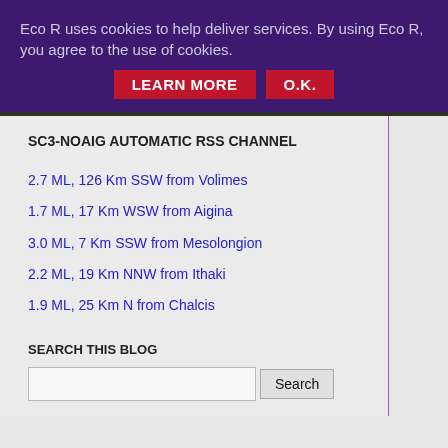Eco R uses cookies to help deliver services. By using Eco R, you agree to the use of cookies.
LEARN MORE   O.K.
SC3-NOAIG AUTOMATIC RSS CHANNEL
2.7 ML, 126 Km SSW from Volimes
1.7 ML, 17 Km WSW from Aigina
3.0 ML, 7 Km SSW from Mesolongion
2.2 ML, 19 Km NNW from Ithaki
1.9 ML, 25 Km N from Chalcis
SEARCH THIS BLOG
Search